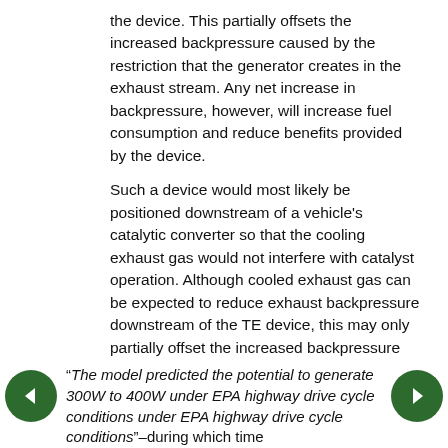the device. This partially offsets the increased backpressure caused by the restriction that the generator creates in the exhaust stream. Any net increase in backpressure, however, will increase fuel consumption and reduce benefits provided by the device.
Such a device would most likely be positioned downstream of a vehicle's catalytic converter so that the cooling exhaust gas would not interfere with catalyst operation. Although cooled exhaust gas can be expected to reduce exhaust backpressure downstream of the TE device, this may only partially offset the increased backpressure upstream of the device. The authors of the study note that such losses, as well as losses in a DC-DC converter that would typically receive current from the device and boost that current to a usable potential, must be included in final calculations of device efficiency.
“The model predicted the potential to generate 300W to 400W under EPA highway drive cycle conditions under EPA highway drive cycle conditions”–during which time